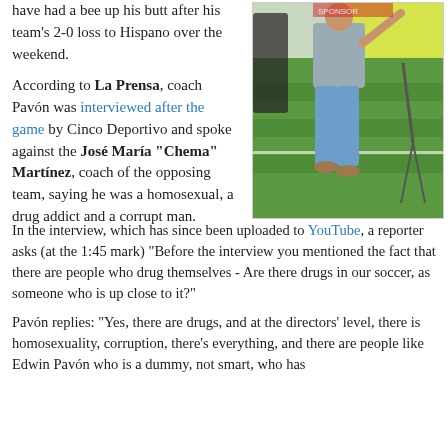have had a bee up his butt after his team's 2-0 loss to Hispano over the weekend.
According to La Prensa, coach Pavón was interviewed after the game by Cinco Deportivo and spoke against the José María "Chema" Martínez, coach of the opposing team, saying he was a homosexual, a drug addict and a corrupt man.
[Figure (photo): A man in a grey shirt and blue jeans walking on a green soccer field, photographed from behind/side.]
In the interview, which has since been uploaded to YouTube, a reporter asks (at the 1:45 mark) "Before the interview you mentioned the fact that there are people who drug themselves - Are there drugs in our soccer, as someone who is up close to it?"
Pavón replies: "Yes, there are drugs, and at the directors' level, there is homosexuality, corruption, there's everything, and there are people like Edwin Pavón who is a dummy, not smart, who has